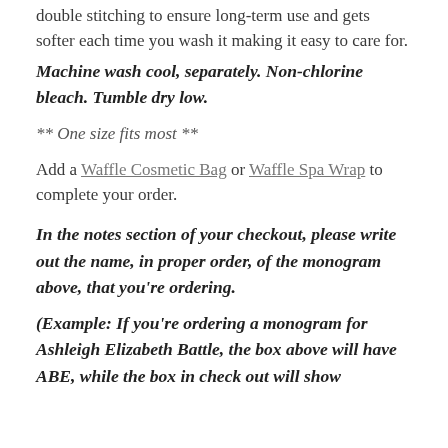double stitching to ensure long-term use and gets softer each time you wash it making it easy to care for.
Machine wash cool, separately. Non-chlorine bleach. Tumble dry low.
** One size fits most **
Add a Waffle Cosmetic Bag or Waffle Spa Wrap to complete your order.
In the notes section of your checkout, please write out the name, in proper order, of the monogram above, that you're ordering.
(Example: If you're ordering a monogram for Ashleigh Elizabeth Battle, the box above will have ABE, while the box in check out will show